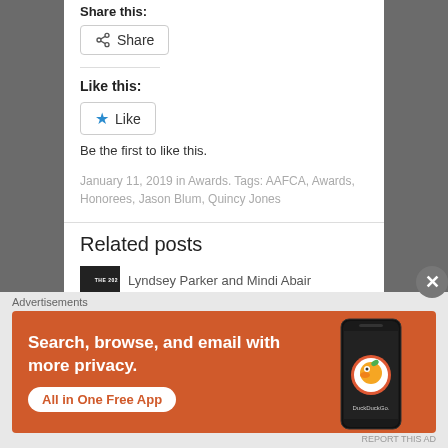Share this:
[Figure (screenshot): Share button with share icon]
Like this:
[Figure (screenshot): Like button with blue star icon]
Be the first to like this.
January 11, 2019 in Awards. Tags: AAFCA, Awards, Honorees, Jason Blum, Quincy Jones
Related posts
Lyndsey Parker and Mindi Abair
Advertisements
[Figure (screenshot): DuckDuckGo advertisement banner: Search, browse, and email with more privacy. All in One Free App]